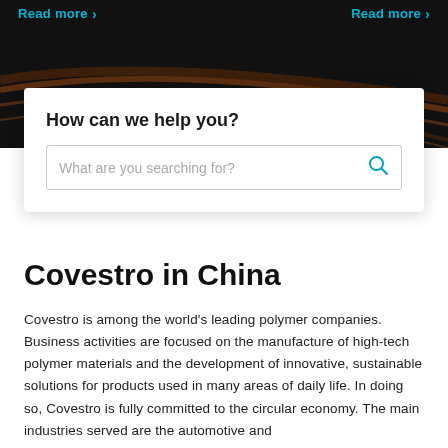Read more >    Read more >
How can we help you?
What are you searching for?
Covestro in China
Covestro is among the world's leading polymer companies. Business activities are focused on the manufacture of high-tech polymer materials and the development of innovative, sustainable solutions for products used in many areas of daily life. In doing so, Covestro is fully committed to the circular economy. The main industries served are the automotive and